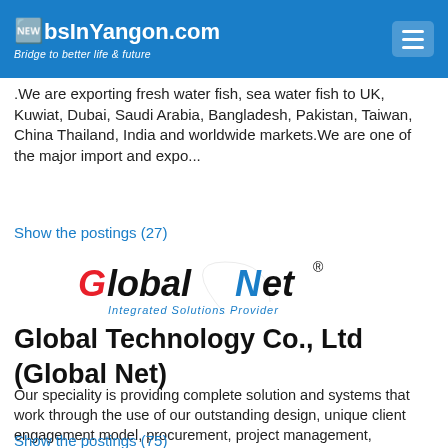JobsInYangon.com — Bridge to better life & future
.We are exporting fresh water fish, sea water fish to UK, Kuwiat, Dubai, Saudi Arabia, Bangladesh, Pakistan, Taiwan, China Thailand, India and worldwide markets.We are one of the major import and expo...
Show the postings (27)
[Figure (logo): GlobalNet Integrated Solutions Provider logo]
Global Technology Co., Ltd (Global Net)
Our speciality is providing complete solution and systems that work through the use of our outstanding design, unique client engagement model, procurement, project management, implementation and suppo...
Show the postings (75)